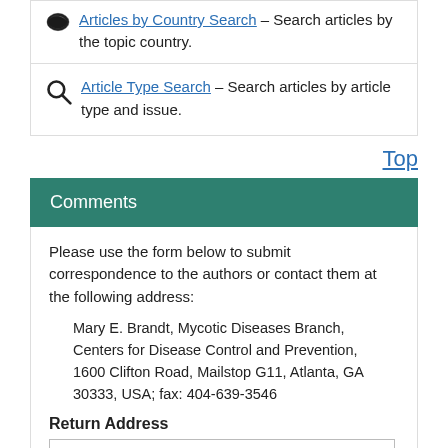Articles by Country Search – Search articles by the topic country.
Article Type Search – Search articles by article type and issue.
Top
Comments
Please use the form below to submit correspondence to the authors or contact them at the following address:
Mary E. Brandt, Mycotic Diseases Branch, Centers for Disease Control and Prevention, 1600 Clifton Road, Mailstop G11, Atlanta, GA 30333, USA; fax: 404-639-3546
Return Address